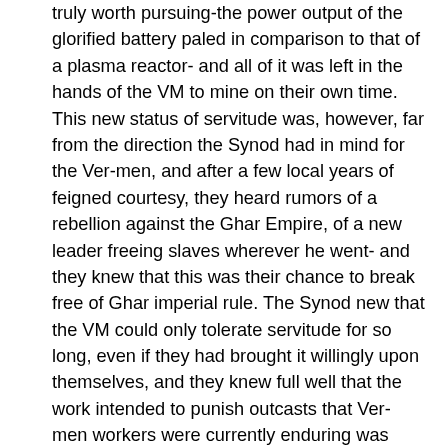truly worth pursuing-the power output of the glorified battery paled in comparison to that of a plasma reactor- and all of it was left in the hands of the VM to mine on their own time. This new status of servitude was, however, far from the direction the Synod had in mind for the Ver-men, and after a few local years of feigned courtesy, they heard rumors of a rebellion against the Ghar Empire, of a new leader freeing slaves wherever he went- and they knew that this was their chance to break free of Ghar imperial rule. The Synod new that the VM could only tolerate servitude for so long, even if they had brought it willingly upon themselves, and they knew full well that the work intended to punish outcasts that Ver-men workers were currently enduring was already beginning to take its toll. The priests of the Synod began to quietly spread rumors among their people that these Ghar were, in fact, usurpers, liars, and thieves of tech-the worst type of heretics-and that elsewhere there was another, the true leader, whom they must seek to find true tech-enlightenment, rather than the cruel servitude they were facing at the moment. These rumblings spread quickly through the masses of the VM commoners, whose simple minds were easily filled and inspired with the story- and so